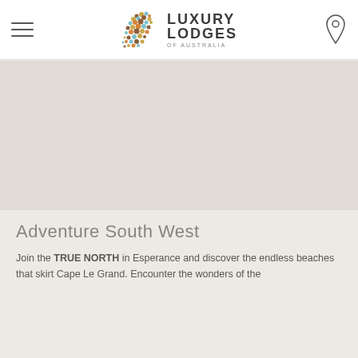Luxury Lodges of Australia
[Figure (illustration): Large scenic image area (image not visible/loaded), shown as gray placeholder]
Adventure South West
Join the TRUE NORTH in Esperance and discover the endless beaches that skirt Cape Le Grand. Encounter the wonders of the Bremer Bay Canyons and indulge in delicacies from the sea.